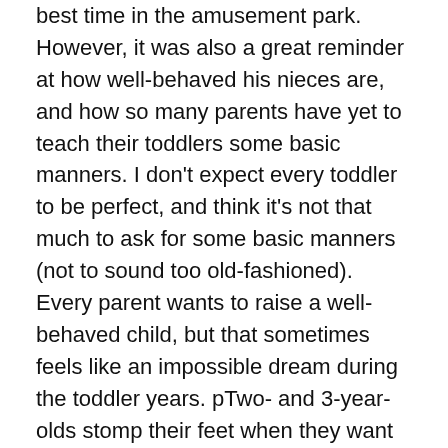best time in the amusement park. However, it was also a great reminder at how well-behaved his nieces are, and how so many parents have yet to teach their toddlers some basic manners. I don't expect every toddler to be perfect, and think it's not that much to ask for some basic manners (not to sound too old-fashioned). Every parent wants to raise a well-behaved child, but that sometimes feels like an impossible dream during the toddler years. pTwo- and 3-year-olds stomp their feet when they want something, crawl under the table during dinner, and snatch toys away from their friends. You might be tempted to put off teaching manners until this phase passes, but it's the perfect time to begin.
In my opinion, when you start early, your child will learn that being polite and considerate is just the normal way people act. Just don't expect instant perfection until your